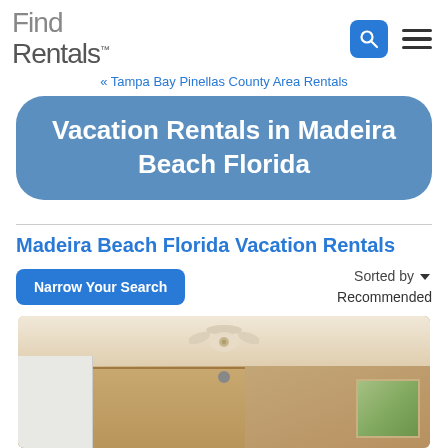Find Rentals™
« Tampa Bay Pinellas County Area Rentals
Vacation Rentals in Madeira Beach Florida
Madeira Beach Florida Vacation Rentals
Narrow Your Search
Sorted by ▾ Recommended
[Figure (photo): Interior photo of a vacation rental unit showing kitchen with wooden cabinets, ceiling fan, white refrigerator, and wall art with palm tree design]